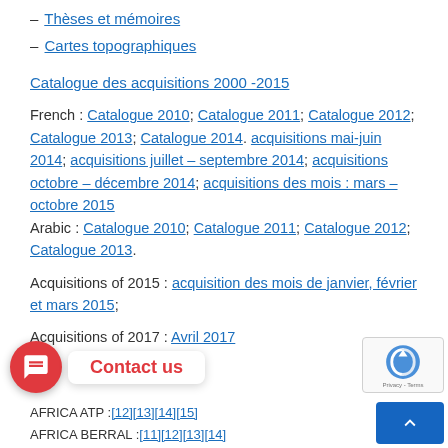– Thèses et mémoires
– Cartes topographiques
Catalogue des acquisitions 2000 -2015
French : Catalogue 2010; Catalogue 2011; Catalogue 2012; Catalogue 2013; Catalogue 2014. acquisitions mai-juin 2014; acquisitions juillet – septembre 2014; acquisitions octobre – décembre 2014; acquisitions des mois : mars – octobre 2015
Arabic : Catalogue 2010; Catalogue 2011; Catalogue 2012; Catalogue 2013.
Acquisitions of 2015 : acquisition des mois de janvier, février et mars 2015;
Acquisitions of 2017 : Avril 2017
AFRICA ATP :[12][13][14][15]
AFRICA BERRAL :[11][12][13][14]